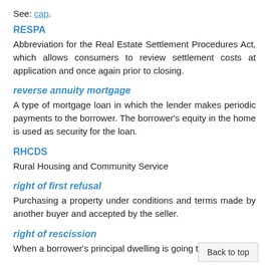See: cap.
RESPA
Abbreviation for the Real Estate Settlement Procedures Act, which allows consumers to review settlement costs at application and once again prior to closing.
reverse annuity mortgage
A type of mortgage loan in which the lender makes periodic payments to the borrower. The borrower's equity in the home is used as security for the loan.
RHCDS
Rural Housing and Community Service
right of first refusal
Purchasing a property under conditions and terms made by another buyer and accepted by the seller.
right of rescission
When a borrower's principal dwelling is going to secure a loan, borrower has certain rights following the signing of the loan